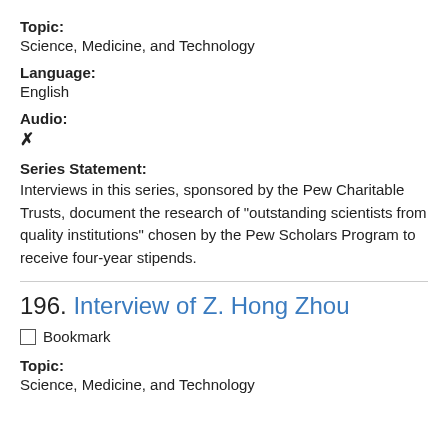Topic:
Science, Medicine, and Technology
Language:
English
Audio:
✗
Series Statement:
Interviews in this series, sponsored by the Pew Charitable Trusts, document the research of "outstanding scientists from quality institutions" chosen by the Pew Scholars Program to receive four-year stipends.
196. Interview of Z. Hong Zhou
Bookmark
Topic:
Science, Medicine, and Technology